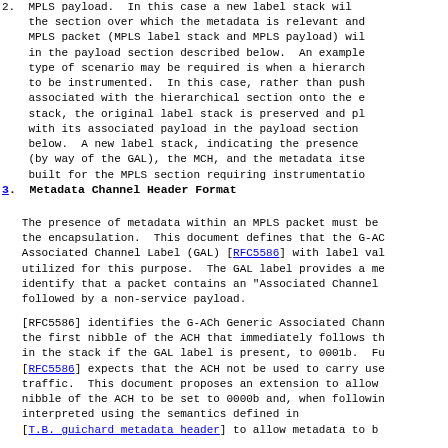2.  MPLS payload.  In this case a new label stack will the section over which the metadata is relevant and MPLS packet (MPLS label stack and MPLS payload) wil in the payload section described below.  An example type of scenario may be required is when a hierarch to be instrumented.  In this case, rather than push associated with the hierarchical section onto the e stack, the original label stack is preserved and pl with its associated payload in the payload section below.  A new label stack, indicating the presence (by way of the GAL), the MCH, and the metadata itse built for the MPLS section requiring instrumentatio
3.  Metadata Channel Header Format
The presence of metadata within an MPLS packet must be the encapsulation.  This document defines that the G-AC Associated Channel Label (GAL) [RFC5586] with label val utilized for this purpose.  The GAL label provides a me identify that a packet contains an "Associated Channel followed by a non-service payload.
[RFC5586] identifies the G-ACh Generic Associated Chann the first nibble of the ACH that immediately follows th in the stack if the GAL label is present, to 0001b.  Fu [RFC5586] expects that the ACH not be used to carry use traffic.  This document proposes an extension to allow nibble of the ACH to be set to 0000b and, when followin interpreted using the semantics defined in [T.B. guichard metadata header] to allow metadata to b